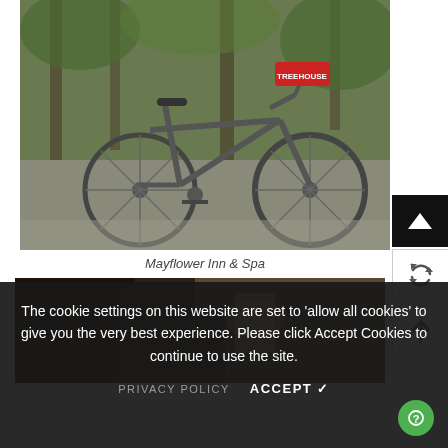[Figure (photo): Two bicycles parked outdoors near trees on a concrete surface. One bike has a red 'TREEHOUSE' tag on the handlebars.]
Mayflower Inn & Spa
[Figure (photo): Partial interior photo showing a dimly lit room with dark furniture.]
The cookie settings on this website are set to 'allow all cookies' to give you the very best experience. Please click Accept Cookies to continue to use the site.
PRIVACY POLICY    ACCEPT ✓